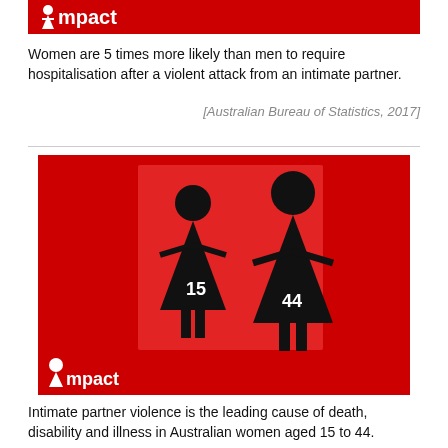[Figure (logo): Impact logo — white female silhouette icon with text 'Impact' on red background banner]
Women are 5 times more likely than men to require hospitalisation after a violent attack from an intimate partner.
[Australian Bureau of Statistics, 2017]
[Figure (infographic): Red background infographic showing two female silhouettes of different sizes labeled '15' and '44', representing women aged 15 to 44. The Impact logo appears at the bottom left.]
Intimate partner violence is the leading cause of death, disability and illness in Australian women aged 15 to 44.